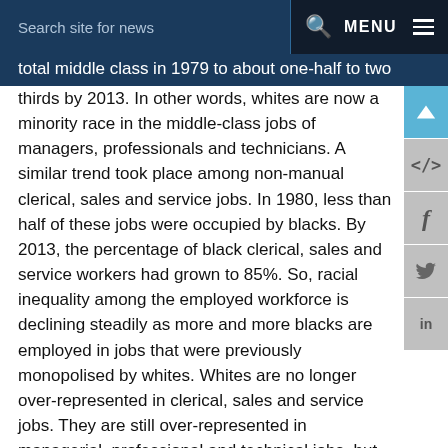Search site for news  MENU
total middle class in 1979 to about one-half to two thirds by 2013. In other words, whites are now a minority race in the middle-class jobs of managers, professionals and technicians. A similar trend took place among non-manual clerical, sales and service jobs. In 1980, less than half of these jobs were occupied by blacks. By 2013, the percentage of black clerical, sales and service workers had grown to 85%. So, racial inequality among the employed workforce is declining steadily as more and more blacks are employed in jobs that were previously monopolised by whites. Whites are no longer over-represented in clerical, sales and service jobs. They are still over-represented in managerial, professional and technical jobs, but their proportion is declining steadily.
These results should not surprise us. Since the dying days of apartheid, there has been no statutory racial discrimination in terms of access to education or jobs.